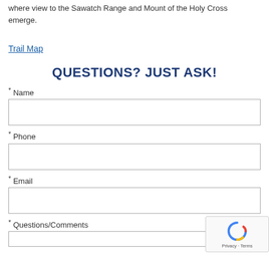where view to the Sawatch Range and Mount of the Holy Cross emerge.
Trail Map
QUESTIONS? JUST ASK!
* Name
* Phone
* Email
* Questions/Comments